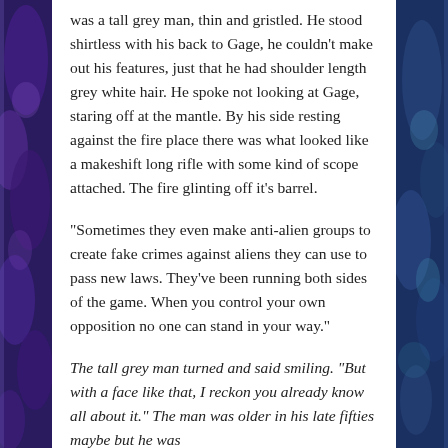was a tall grey man, thin and gristled. He stood shirtless with his back to Gage, he couldn't make out his features, just that he had shoulder length grey white hair. He spoke not looking at Gage, staring off at the mantle. By his side resting against the fire place there was what looked like a makeshift long rifle with some kind of scope attached. The fire glinting off it's barrel.
“Sometimes they even make anti-alien groups to create fake crimes against aliens they can use to pass new laws. They’ve been running both sides of the game. When you control your own opposition no one can stand in your way.”
The tall grey man turned and said smiling. “But with a face like that, I reckon you already know all about it.” The man was older in his late fifties maybe but he was